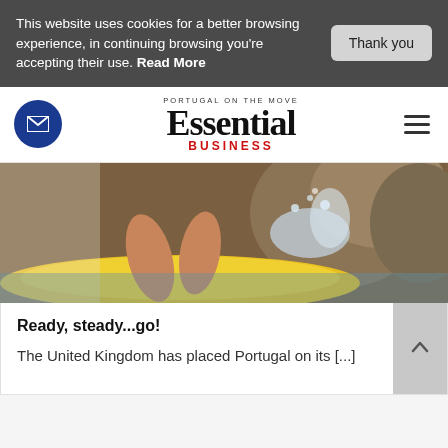This website uses cookies for a better browsing experience, in continuing browsing you're accepting their use. Read More
[Figure (logo): Essential Business magazine logo with tagline 'Portugal on the Move', mail icon button, and hamburger menu icon]
[Figure (photo): Person relaxing on a yellow inflatable in water near rocks with splashing water]
Ready, steady...go!
The United Kingdom has placed Portugal on its [...]